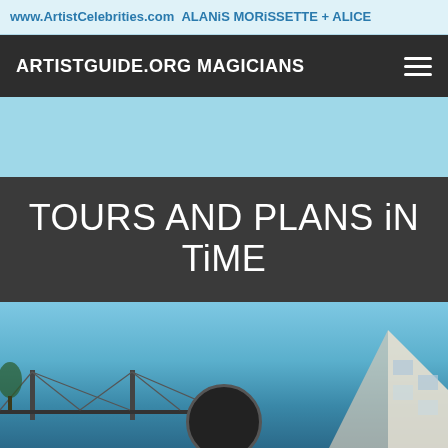www.ArtistCelebrities.com ALANiS MORiSSETTE + ALICE
ARTISTGUIDE.ORG MAGICIANS
[Figure (photo): Light blue banner / hero section background]
TOURS AND PLANS iN TiME
[Figure (photo): Outdoor photo showing a bridge, a person in dark clothing, and a modern building against a blue sky]
This website makes use of cookies to enhance browsing experience and provide additional functionality. Details
Allow cookies